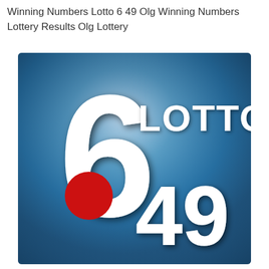Winning Numbers Lotto 6 49 Olg Winning Numbers Lottery Results Olg Lottery
[Figure (logo): Lotto 6/49 OLG logo on a blue radial gradient background. A large white number '6' with a red circle/dot in its counter occupies the left-center. 'LOTTO' appears in white bold text upper-right. '49' appears in large white bold outlined text lower-right.]